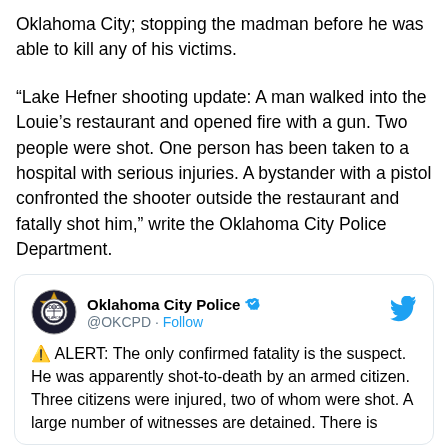Oklahoma City; stopping the madman before he was able to kill any of his victims.
“Lake Hefner shooting update: A man walked into the Louie’s restaurant and opened fire with a gun. Two people were shot. One person has been taken to a hospital with serious injuries. A bystander with a pistol confronted the shooter outside the restaurant and fatally shot him,” write the Oklahoma City Police Department.
[Figure (screenshot): Tweet from Oklahoma City Police (@OKCPD) with verified badge and Follow link. Tweet text: ⚠️ ALERT: The only confirmed fatality is the suspect. He was apparently shot-to-death by an armed citizen. Three citizens were injured, two of whom were shot. A large number of witnesses are detained. There is an indication of terror, not at this point...]